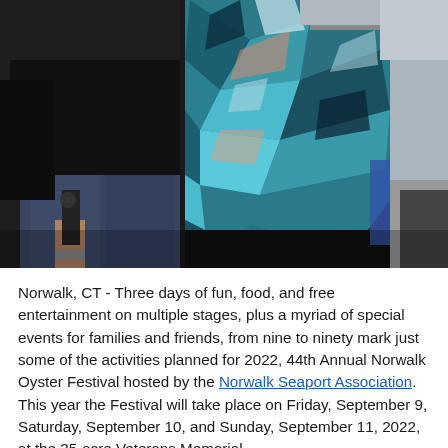[Figure (photo): Photograph showing two people from approximately waist to shoulder level. Person on left wears a dark/black top and jeans. Person in center-right wears a colorful blue geometric patterned shirt/jacket. A third person is partially visible at the far right.]
Norwalk, CT - Three days of fun, food, and free entertainment on multiple stages, plus a myriad of special events for families and friends, from nine to ninety mark just some of the activities planned for 2022,  44th Annual Norwalk Oyster Festival hosted by the Norwalk Seaport Association. This year the Festival will take place on Friday, September 9, Saturday, September 10, and Sunday, September 11, 2022, at the 35-acre Veterans Memorial